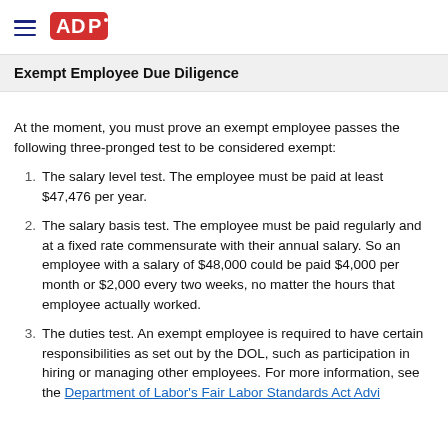ADP logo and navigation hamburger menu
Exempt Employee Due Diligence
At the moment, you must prove an exempt employee passes the following three-pronged test to be considered exempt:
The salary level test. The employee must be paid at least $47,476 per year.
The salary basis test. The employee must be paid regularly and at a fixed rate commensurate with their annual salary. So an employee with a salary of $48,000 could be paid $4,000 per month or $2,000 every two weeks, no matter the hours that employee actually worked.
The duties test. An exempt employee is required to have certain responsibilities as set out by the DOL, such as participation in hiring or managing other employees. For more information, see the Department of Labor's Fair Labor Standards Act Advisor.